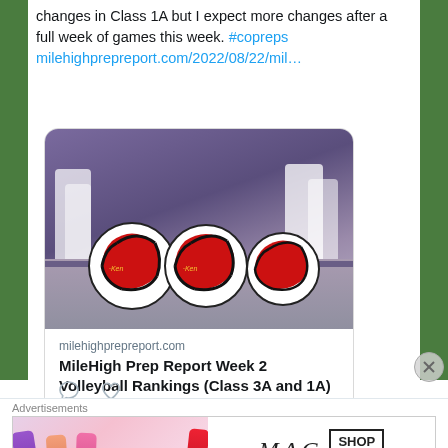changes in Class 1A but I expect more changes after a full week of games this week. #copreps milehighprepreport.com/2022/08/22/mil…
[Figure (screenshot): A Twitter/social media card showing a link preview for MileHigh Prep Report Week 2 Volleyball Rankings (Class 3A and 1A) with a photo of volleyballs on a court floor with players blurred in background]
milehighprepreport.com
MileHigh Prep Report Week 2 Volleyball Rankings (Class 3A and 1A)
Advertisements
[Figure (photo): MAC Cosmetics advertisement banner showing lipsticks and a SHOP NOW button]